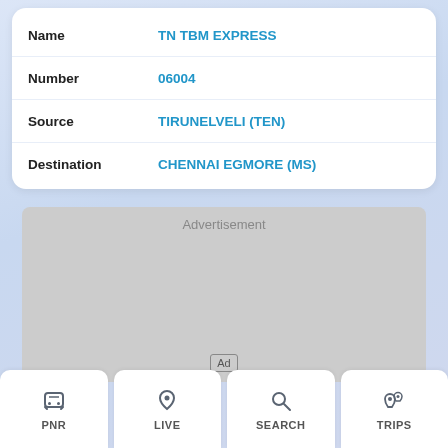| Field | Value |
| --- | --- |
| Name | TN TBM EXPRESS |
| Number | 06004 |
| Source | TIRUNELVELI (TEN) |
| Destination | CHENNAI EGMORE (MS) |
[Figure (other): Advertisement placeholder area with 'Advertisement' label and 'Ad' badge]
PNR | LIVE | SEARCH | TRIPS